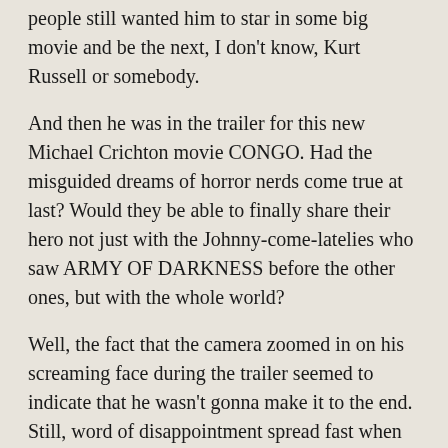people still wanted him to star in some big movie and be the next, I don't know, Kurt Russell or somebody.
And then he was in the trailer for this new Michael Crichton movie CONGO. Had the misguided dreams of horror nerds come true at last? Would they be able to finally share their hero not just with the Johnny-come-latelies who saw ARMY OF DARKNESS before the other ones, but with the whole world?
Well, the fact that the camera zoomed in on his screaming face during the trailer seemed to indicate that he wasn't gonna make it to the end. Still, word of disappointment spread fast when people saw the movie and discovered that he bites it in the opening scene. The whole movie is about a rescue mission to come